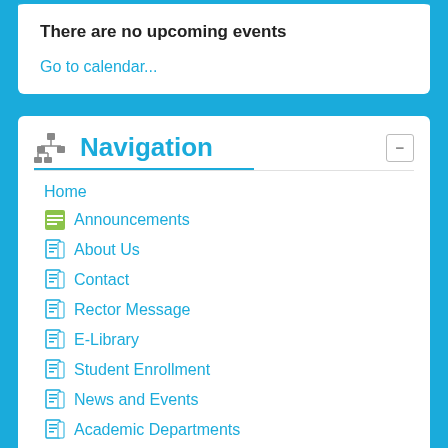There are no upcoming events
Go to calendar...
Navigation
Home
Announcements
About Us
Contact
Rector Message
E-Library
Student Enrollment
News and Events
Academic Departments
Administrative Board (Senate)
Administrative Board